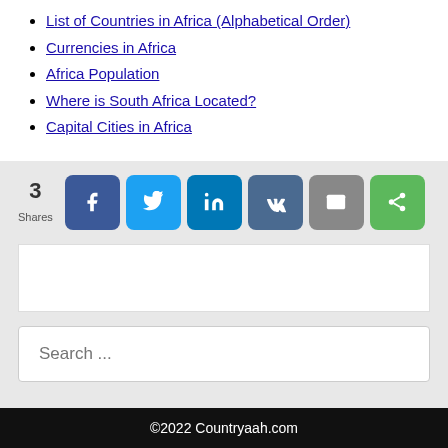List of Countries in Africa (Alphabetical Order)
Currencies in Africa
Africa Population
Where is South Africa Located?
Capital Cities in Africa
[Figure (infographic): Social share bar showing 3 Shares with buttons for Facebook, Twitter, LinkedIn, VK, Email, and a general share button]
[Figure (screenshot): Empty white advertisement box]
Search ...
©2022 Countryaah.com